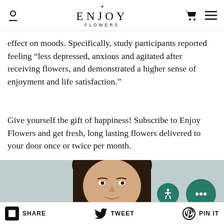ENJOY FLOWERS
effect on moods. Specifically, study participants reported feeling “less depressed, anxious and agitated after receiving flowers, and demonstrated a higher sense of enjoyment and life satisfaction.”
Give yourself the gift of happiness! Subscribe to Enjoy Flowers and get fresh, long lasting flowers delivered to your door once or twice per month.
[Figure (photo): Woman smiling, cropped to show face and hair against a light blue-grey background]
SHARE   TWEET   PIN IT